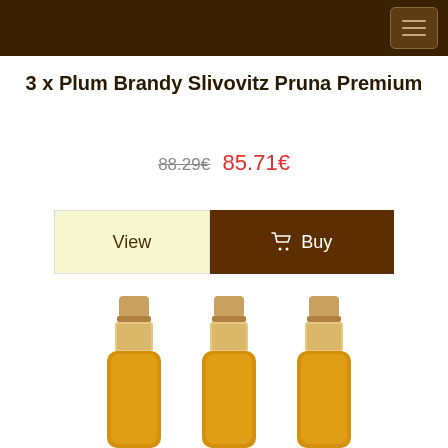3 x Plum Brandy Slivovitz Pruna Premium
88.29€  85.71€
View  Buy
[Figure (photo): Three bottles of Plum Brandy Slivovitz Pruna Premium, showing the tops and upper portions of three amber-colored bottles with beige caps, arranged side by side.]